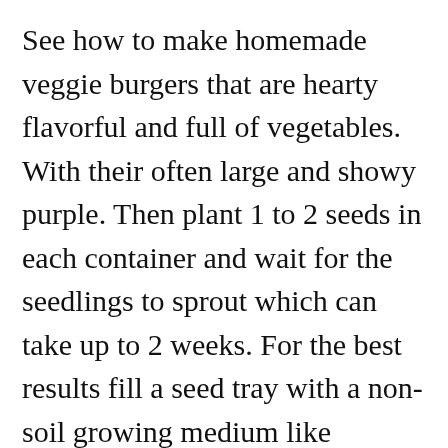See how to make homemade veggie burgers that are hearty flavorful and full of vegetables. With their often large and showy purple. Then plant 1 to 2 seeds in each container and wait for the seedlings to sprout which can take up to 2 weeks. For the best results fill a seed tray with a non-soil growing medium like vermiculite or compost. Bake for 30 minutes turning them over once during cooking. Then place the slices between sheets of paper towel and press gently to remo[X]juices and firm the